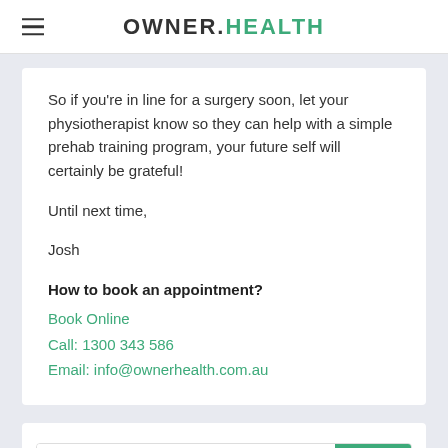OWNER.HEALTH
So if you're in line for a surgery soon, let your physiotherapist know so they can help with a simple prehab training program, your future self will certainly be grateful!
Until next time,
Josh
How to book an appointment?
Book Online
Call: 1300 343 586
Email: info@ownerhealth.com.au
Search in blog